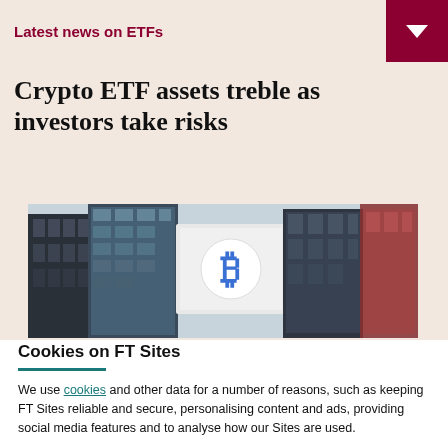Latest news on ETFs
Crypto ETF assets treble as investors take risks
[Figure (photo): A photograph of tall glass skyscraper buildings in a city, with a large billboard or screen displaying a bitcoin logo symbol.]
Cookies on FT Sites
We use cookies and other data for a number of reasons, such as keeping FT Sites reliable and secure, personalising content and ads, providing social media features and to analyse how our Sites are used.
Manage cookies
Accept & continue